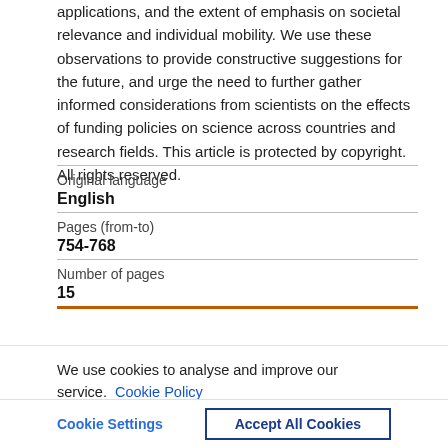applications, and the extent of emphasis on societal relevance and individual mobility. We use these observations to provide constructive suggestions for the future, and urge the need to further gather informed considerations from scientists on the effects of funding policies on science across countries and research fields. This article is protected by copyright. All rights reserved.
| Original language | English |
| Pages (from-to) | 754-768 |
| Number of pages | 15 |
We use cookies to analyse and improve our service. Cookie Policy
Cookie Settings    Accept All Cookies